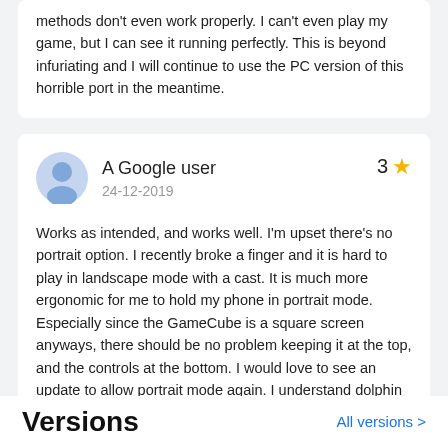methods don't even work properly. I can't even play my game, but I can see it running perfectly. This is beyond infuriating and I will continue to use the PC version of this horrible port in the meantime.
A Google user
24-12-2019
3 stars

Works as intended, and works well. I'm upset there's no portrait option. I recently broke a finger and it is hard to play in landscape mode with a cast. It is much more ergonomic for me to hold my phone in portrait mode. Especially since the GameCube is a square screen anyways, there should be no problem keeping it at the top, and the controls at the bottom. I would love to see an update to allow portrait mode again. I understand dolphin does not support it anymore, I think that is a mistake.
Versions
All versions >